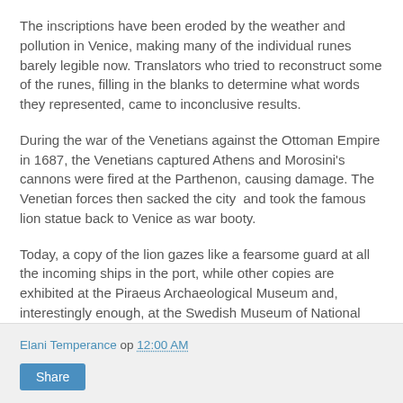The inscriptions have been eroded by the weather and pollution in Venice, making many of the individual runes barely legible now. Translators who tried to reconstruct some of the runes, filling in the blanks to determine what words they represented, came to inconclusive results.
During the war of the Venetians against the Ottoman Empire in 1687, the Venetians captured Athens and Morosini's cannons were fired at the Parthenon, causing damage. The Venetian forces then sacked the city  and took the famous lion statue back to Venice as war booty.
Today, a copy of the lion gazes like a fearsome guard at all the incoming ships in the port, while other copies are exhibited at the Piraeus Archaeological Museum and, interestingly enough, at the Swedish Museum of National Antiquities in Stockholm.
Elani Temperance op 12:00 AM